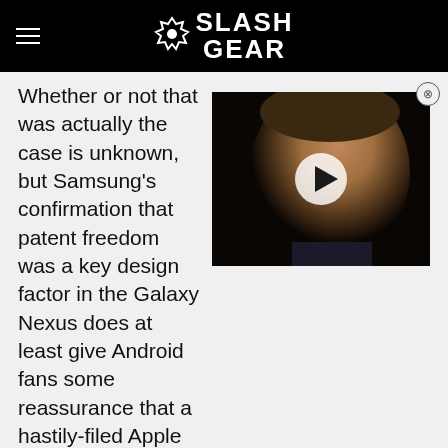SlashGear
[Figure (photo): Video thumbnail showing a man (Elon Musk) with a play button overlay, with a close (X) button in the top-right corner.]
Whether or not that was actually the case is unknown, but Samsung's confirmation that patent freedom was a key design factor in the Galaxy Nexus does at least give Android fans some reassurance that a hastily-filed Apple injunction shouldn't stop them from picking up the new phone when it goes on sale next month.
More on the Galaxy Nexus in our full hands-on!